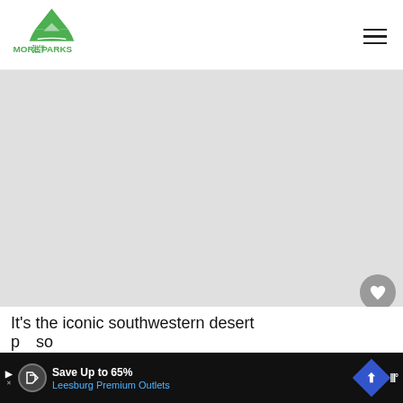[Figure (logo): More Than Just Parks logo — green arrowhead/mountain shape with text MORE THAN JUST PARKS]
[Figure (photo): Hero image area — large gray placeholder for a southwestern desert landscape photo]
[Figure (infographic): UI overlay buttons: heart/like button (gray circle), count badge showing 10, share button (white circle with share icon)]
[Figure (infographic): What's Next banner with thumbnail and text: WHAT'S NEXT → / 6 BEST NATIONAL...]
It's the iconic southwestern desert p...so
[Figure (infographic): Advertisement banner: Save Up to 65% / Leesburg Premium Outlets, with navigation icon and app logo]